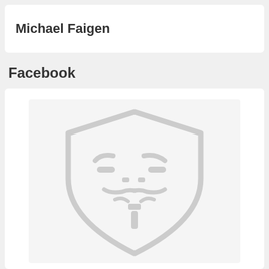Michael Faigen
Facebook
[Figure (illustration): Anonymous/Guy Fawkes mask placeholder icon in light gray outline style, shown on a light gray background inside a white card]